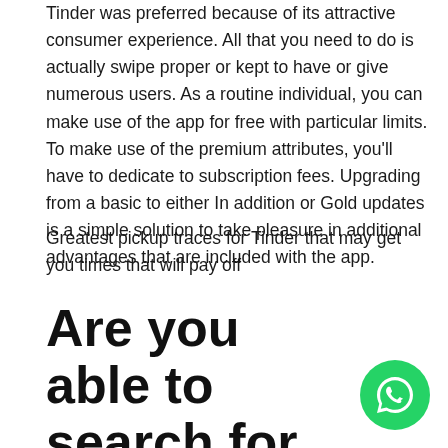Tinder was preferred because of its attractive consumer experience. All that you need to do is actually swipe proper or kept to have or give numerous users. As a routine individual, you can make use of the app for free with particular limits. To make use of the premium attributes, you'll have to dedicate to subscription fees. Upgrading from a basic to either In addition or Gold updates is a simple solution to take pleasure in additional advantages that are included with the app.
Greatest pickup traces for Tinder that may get you times that will pay off
Are you able to search for
[Figure (logo): WhatsApp chat button — green circle with white phone handset icon]